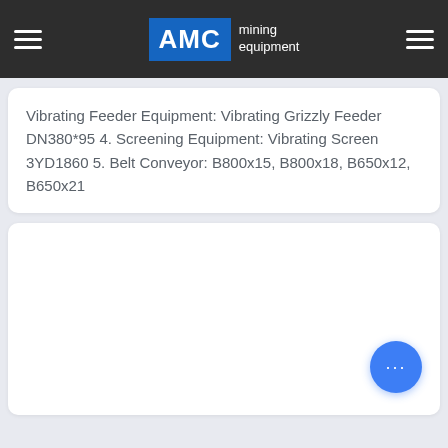AMC mining equipment
Vibrating Feeder Equipment: Vibrating Grizzly Feeder DN380*95 4. Screening Equipment: Vibrating Screen 3YD1860 5. Belt Conveyor: B800x15, B800x18, B650x12, B650x21
[Figure (other): Empty white card area below the text card, likely a placeholder for an image or additional content]